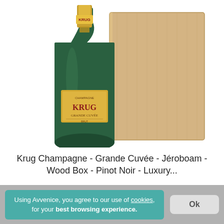[Figure (photo): Krug Grande Cuvée champagne bottle (dark green, gold foil top, gold label) next to a light wood presentation box with KRUG engraved on it]
Krug Champagne - Grande Cuvée - Jéroboam - Wood Box - Pinot Noir - Luxury...
1 790,00 €
Using Avvenice, you agree to our use of cookies, for your best browsing experience.